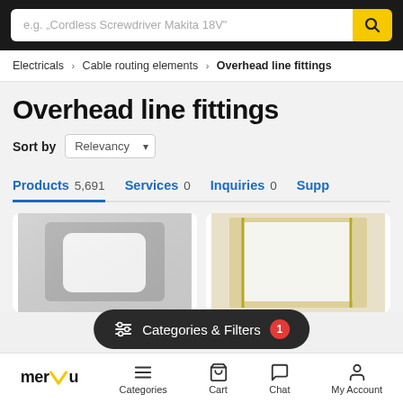[Figure (screenshot): Search bar with placeholder text 'e.g. "Cordless Screwdriver Makita 18V"' and yellow search button with magnifier icon]
Electricals › Cable routing elements › Overhead line fittings
Overhead line fittings
Sort by Relevancy
Products 5,691   Services 0   Inquiries 0   Supp
[Figure (photo): Two product card images showing overhead line fittings components]
Categories & Filters  1
merXu  Categories  Cart  Chat  My Account